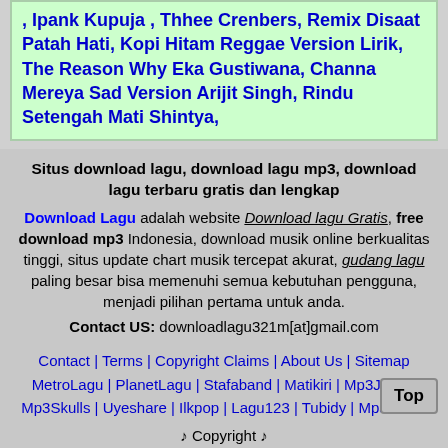, Ipank Kupuja , Thhee Crenbers, Remix Disaat Patah Hati, Kopi Hitam Reggae Version Lirik, The Reason Why Eka Gustiwana, Channa Mereya Sad Version Arijit Singh, Rindu Setengah Mati Shintya,
Situs download lagu, download lagu mp3, download lagu terbaru gratis dan lengkap
Download Lagu adalah website Download lagu Gratis, free download mp3 Indonesia, download musik online berkualitas tinggi, situs update chart musik tercepat akurat, gudang lagu paling besar bisa memenuhi semua kebutuhan pengguna, menjadi pilihan pertama untuk anda.
Contact US: downloadlagu321m[at]gmail.com
Contact | Terms | Copyright Claims | About Us | Sitemap
MetroLagu | PlanetLagu | Stafaband | Matikiri | Mp3Juice |
Mp3Skulls | Uyeshare | Ilkpop | Lagu123 | Tubidy | Mp3 Juice
♪ Copyright ♪